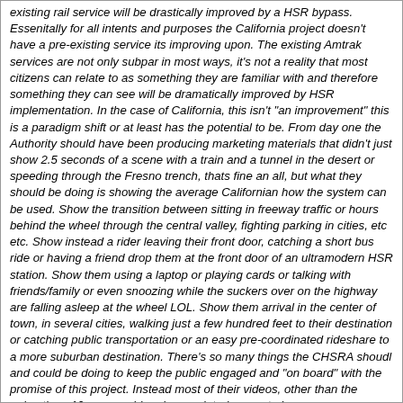existing rail service will be drastically improved by a HSR bypass. Essenitally for all intents and purposes the California project doesn't have a pre-existing service its improving upon. The existing Amtrak services are not only subpar in most ways, it's not a reality that most citizens can relate to as something they are familiar with and therefore something they can see will be dramatically improved by HSR implementation. In the case of California, this isn't "an improvement" this is a paradigm shift or at least has the potential to be. From day one the Authority should have been producing marketing materials that didn't just show 2.5 seconds of a scene with a train and a tunnel in the desert or speeding through the Fresno trench, thats fine an all, but what they should be doing is showing the average Californian how the system can be used. Show the transition between sitting in freeway traffic or hours behind the wheel through the central valley, fighting parking in cities, etc etc. Show instead a rider leaving their front door, catching a short bus ride or having a friend drop them at the front door of an ultramodern HSR station. Show them using a laptop or playing cards or talking with friends/family or even snoozing while the suckers over on the highway are falling asleep at the wheel LOL. Show them arrival in the center of town, in several cities, walking just a few hundred feet to their destination or catching public transportation or an easy pre-coordinated rideshare to a more suburban destination. There's so many things the CHSRA shoudl and could be doing to keep the public engaged and "on board" with the promise of this project. Instead most of their videos, other than the animations 10+ years old and un-updated, seem to be